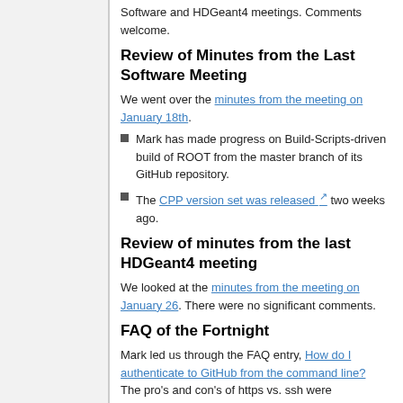Software and HDGeant4 meetings. Comments welcome.
Review of Minutes from the Last Software Meeting
We went over the minutes from the meeting on January 18th.
Mark has made progress on Build-Scripts-driven build of ROOT from the master branch of its GitHub repository.
The CPP version set was released two weeks ago.
Review of minutes from the last HDGeant4 meeting
We looked at the minutes from the meeting on January 26. There were no significant comments.
FAQ of the Fortnight
Mark led us through the FAQ entry, How do I authenticate to GitHub from the command line? The pro's and con's of https vs. ssh were